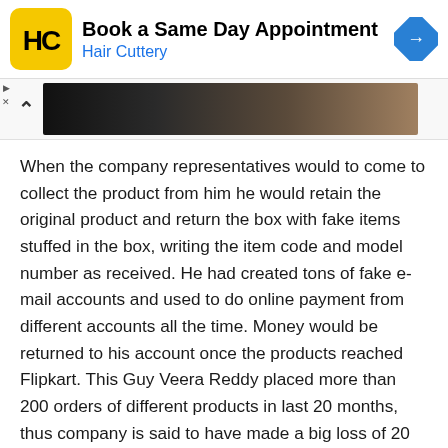[Figure (other): Hair Cuttery advertisement banner with logo, text 'Book a Same Day Appointment / Hair Cuttery', and a blue navigation arrow icon]
[Figure (photo): A partial photo strip showing a dark interior scene, partially visible with a chevron/up arrow button on the left]
When the company representatives would to come to collect the product from him he would retain the original product and return the box with fake items stuffed in the box, writing the item code and model number as received. He had created tons of fake e-mail accounts and used to do online payment from different accounts all the time. Money would be returned to his account once the products reached Flipkart. This Guy Veera Reddy placed more than 200 orders of different products in last 20 months, thus company is said to have made a big loss of 20 lakhs rupees.